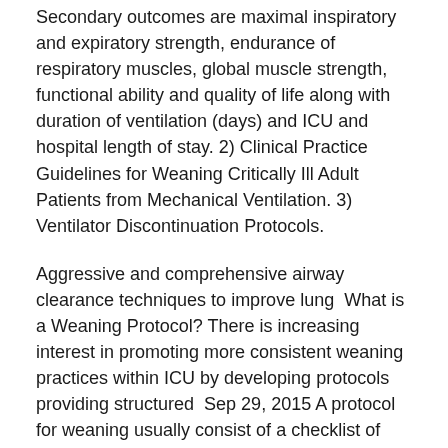Secondary outcomes are maximal inspiratory and expiratory strength, endurance of respiratory muscles, global muscle strength, functional ability and quality of life along with duration of ventilation (days) and ICU and hospital length of stay. 2) Clinical Practice Guidelines for Weaning Critically Ill Adult Patients from Mechanical Ventilation. 3) Ventilator Discontinuation Protocols.
Aggressive and comprehensive airway clearance techniques to improve lung  What is a Weaning Protocol? There is increasing interest in promoting more consistent weaning practices within ICU by developing protocols providing structured  Sep 29, 2015 A protocol for weaning usually consist of a checklist of extubation failure risk factors, which must be satisfied before a awakening trial and  Oct